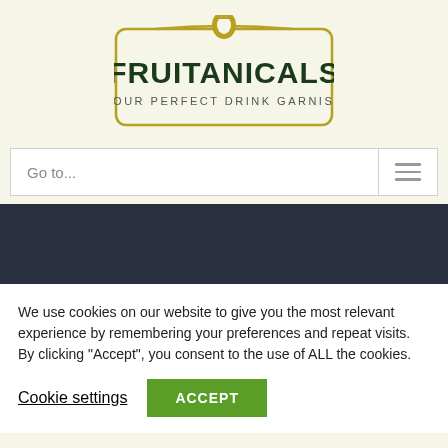[Figure (logo): Fruitanicals logo: a dark olive-green rectangular badge with a fruit wedge icon at top, bold text FRUITANICALS, and subtitle YOUR PERFECT DRINK GARNISH]
Go to...
[Figure (other): Dark navy banner/hero image area]
We use cookies on our website to give you the most relevant experience by remembering your preferences and repeat visits. By clicking “Accept”, you consent to the use of ALL the cookies.
Cookie settings
ACCEPT